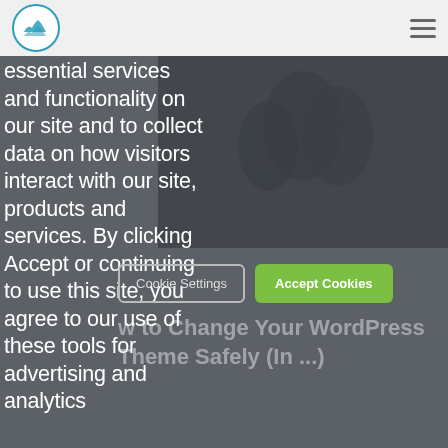[Figure (logo): Circular logo with blue mountain/wave icon on white background with teal border]
[Figure (illustration): Hamburger menu icon (three horizontal lines)]
essential services and functionality on our site and to collect data on how visitors interact with our site, products and services. By clicking Accept or continuing to use this site, you agree to our use of these tools for advertising and analytics
[Figure (photo): Dark-toned photo of people in background, partially obscured by overlay]
Cookie Settings
Accept Cookies
w to Change Your WordPress Theme Safely (In ...)